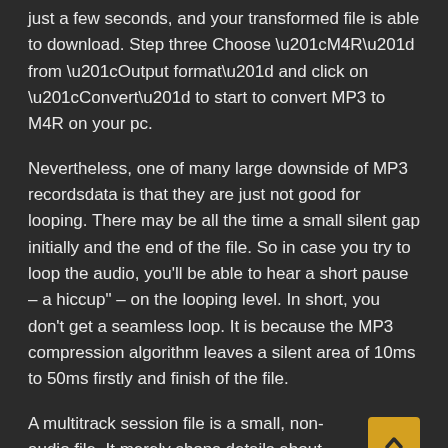just a few seconds, and your transformed file is able to download. Step three Choose “M4R” from “Output format” and click on “Convert” to start to convert MP3 to M4R on your pc.
Nevertheless, one of many large downside of MP3 recordsdata is that they are just not good for looping. There may be all the time a small silent gap initially and the end of the file. So in case you try to loop the audio, you’ll be able to hear a short pause – a hiccup” – on the looping level. In short, you don’t get a seamless loop. It is because the MP3 compression algorithm leaves a silent area of 10ms to 50ms firstly and finish of the file.
A multitrack session file is a small, non-audio file. It merely shops details about areas of associated audio files on your exhausting drive, the duration of each audio file within the session, the envelopes and results utilized to various tracks, and so forth. You may reopen a saved session file later to make additional adjustments to the mix.
Advanced Audio Coding (AAC) is an audio coding standard for